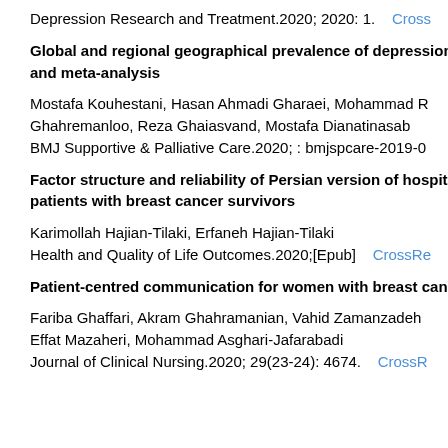Depression Research and Treatment.2020; 2020: 1.    CrossRef
Global and regional geographical prevalence of depression and meta-analysis
Mostafa Kouhestani, Hasan Ahmadi Gharaei, Mohammad R Ghahremanloo, Reza Ghaiasvand, Mostafa Dianatinasab
BMJ Supportive & Palliative Care.2020; : bmjspcare-2019-0
Factor structure and reliability of Persian version of hospital patients with breast cancer survivors
Karimollah Hajian-Tilaki, Erfaneh Hajian-Tilaki
Health and Quality of Life Outcomes.2020;[Epub]    CrossRef
Patient-centred communication for women with breast cancer
Fariba Ghaffari, Akram Ghahramanian, Vahid Zamanzadeh Effat Mazaheri, Mohammad Asghari-Jafarabadi
Journal of Clinical Nursing.2020; 29(23-24): 4674.    CrossRef